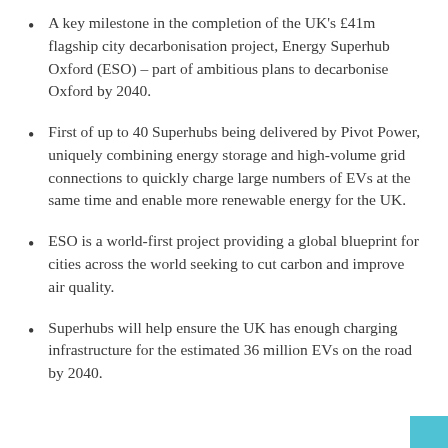A key milestone in the completion of the UK's £41m flagship city decarbonisation project, Energy Superhub Oxford (ESO) – part of ambitious plans to decarbonise Oxford by 2040.
First of up to 40 Superhubs being delivered by Pivot Power, uniquely combining energy storage and high-volume grid connections to quickly charge large numbers of EVs at the same time and enable more renewable energy for the UK.
ESO is a world-first project providing a global blueprint for cities across the world seeking to cut carbon and improve air quality.
Superhubs will help ensure the UK has enough charging infrastructure for the estimated 36 million EVs on the road by 2040.